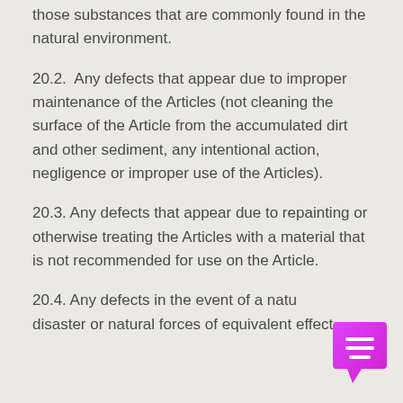those substances that are commonly found in the natural environment.
20.2.  Any defects that appear due to improper maintenance of the Articles (not cleaning the surface of the Article from the accumulated dirt and other sediment, any intentional action, negligence or improper use of the Articles).
20.3. Any defects that appear due to repainting or otherwise treating the Articles with a material that is not recommended for use on the Article.
20.4. Any defects in the event of a natural disaster or natural forces of equivalent effect